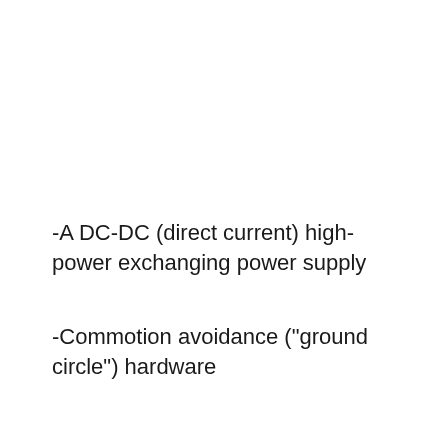-A DC-DC (direct current) high-power exchanging power supply
-Commotion avoidance ("ground circle") hardware